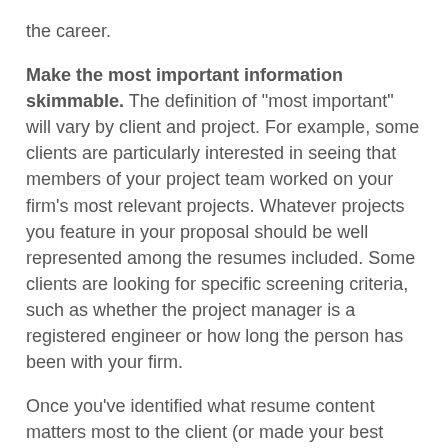the career.
Make the most important information skimmable. The definition of "most important" will vary by client and project. For example, some clients are particularly interested in seeing that members of your project team worked on your firm's most relevant projects. Whatever projects you feature in your proposal should be well represented among the resumes included. Some clients are looking for specific screening criteria, such as whether the project manager is a registered engineer or how long the person has been with your firm.
Once you've identified what resume content matters most to the client (or made your best guess), you want to present that information in bullets, boldface headings, or the like to make it easy for reviewers to find. Obviously, having a consistent resume format will also help clients uncover what they're looking for.
Clearly identify the person's project role. I often see stock resumes being used that don't indicate the individual's role.